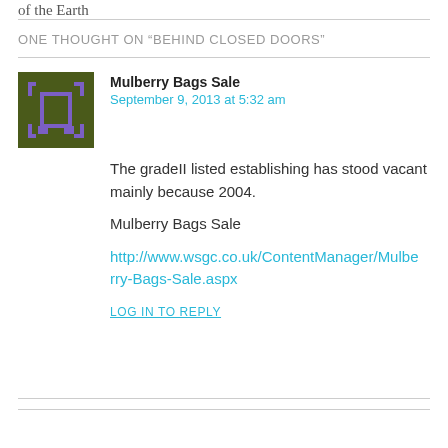of the Earth
ONE THOUGHT ON “BEHIND CLOSED DOORS”
[Figure (illustration): User avatar icon: dark olive/green square background with a purple pixel-art bracket/frame symbol]
Mulberry Bags Sale
September 9, 2013 at 5:32 am
The gradeII listed establishing has stood vacant mainly because 2004.
Mulberry Bags Sale
http://www.wsgc.co.uk/ContentManager/Mulberry-Bags-Sale.aspx
LOG IN TO REPLY